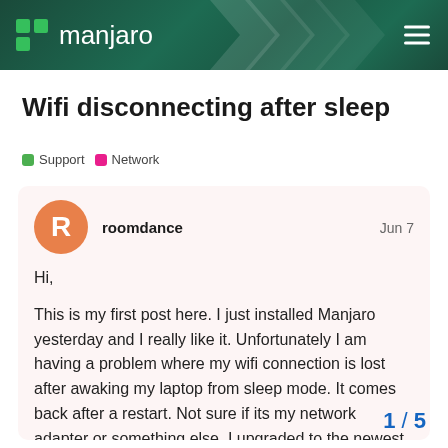Manjaro
Wifi disconnecting after sleep
Support  Network
roomdance  Jun 7
Hi,

This is my first post here. I just installed Manjaro yesterday and I really like it. Unfortunately I am having a problem where my wifi connection is lost after awaking my laptop from sleep mode. It comes back after a restart. Not sure if its my network adapter or something else. I upgraded to the newest kernel after reading other posts here. It did not work the exact same problem with Mint and I
1 / 5